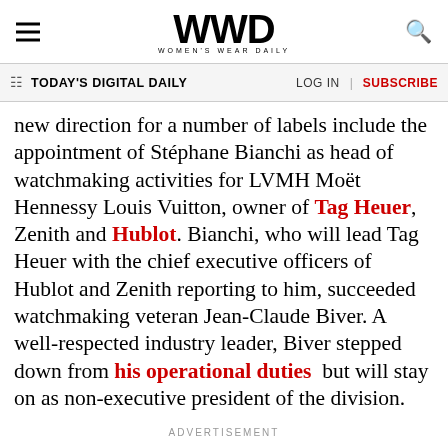WWD — Women's Wear Daily
TODAY'S DIGITAL DAILY | LOG IN | SUBSCRIBE
new direction for a number of labels include the appointment of Stéphane Bianchi as head of watchmaking activities for LVMH Moët Hennessy Louis Vuitton, owner of Tag Heuer, Zenith and Hublot. Bianchi, who will lead Tag Heuer with the chief executive officers of Hublot and Zenith reporting to him, succeeded watchmaking veteran Jean-Claude Biver. A well-respected industry leader, Biver stepped down from his operational duties but will stay on as non-executive president of the division.
ADVERTISEMENT